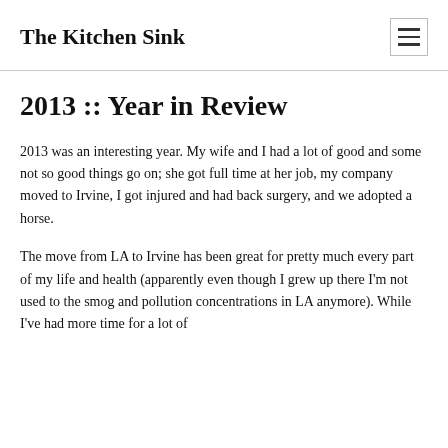The Kitchen Sink
2013 :: Year in Review
2013 was an interesting year. My wife and I had a lot of good and some not so good things go on; she got full time at her job, my company moved to Irvine, I got injured and had back surgery, and we adopted a horse.
The move from LA to Irvine has been great for pretty much every part of my life and health (apparently even though I grew up there I'm not used to the smog and pollution concentrations in LA anymore). While I've had more time for a lot of